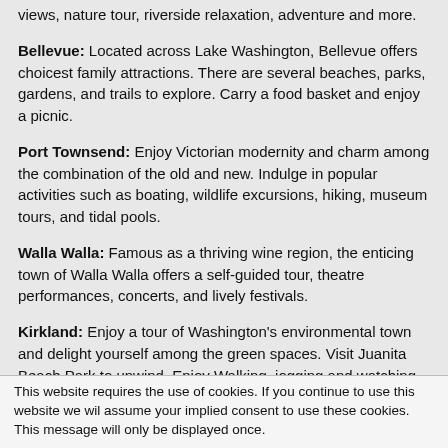views, nature tour, riverside relaxation, adventure and more.
Bellevue: Located across Lake Washington, Bellevue offers choicest family attractions. There are several beaches, parks, gardens, and trails to explore. Carry a food basket and enjoy a picnic.
Port Townsend: Enjoy Victorian modernity and charm among the combination of the old and new. Indulge in popular activities such as boating, wildlife excursions, hiking, museum tours, and tidal pools.
Walla Walla: Famous as a thriving wine region, the enticing town of Walla Walla offers a self-guided tour, theatre performances, concerts, and lively festivals.
Kirkland: Enjoy a tour of Washington's environmental town and delight yourself among the green spaces. Visit Juanita Beach Park to unwind. Enjoy Walking, jogging and watching your child playing with other children.
This website requires the use of cookies. If you continue to use this website we will assume your implied consent to use these cookies. This message will only be displayed once.